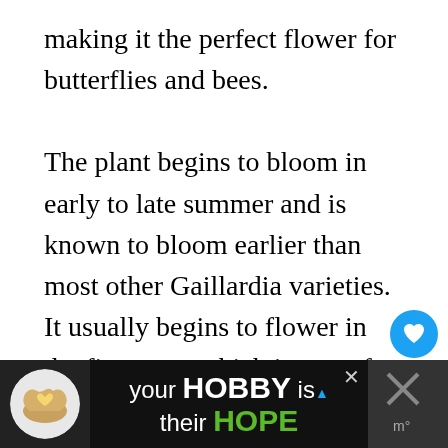making it the perfect flower for butterflies and bees.

The plant begins to bloom in early to late summer and is known to bloom earlier than most other Gaillardia varieties. It usually begins to flower in the first year, which is great for cultivators who don't want a long wait on their yield. The plant is well-branched, allowing it to be resistant to rain and wind. It reaches a height and spread of 1-2' feet an remain uniform, compact, and upright throughout. It grows in Hardiness Zones 5-10.
[Figure (other): Advertisement banner at the bottom: cookies for kid cancer logo on left, text 'your HOBBY is their HOPE' in center, close button, and another icon on the right]